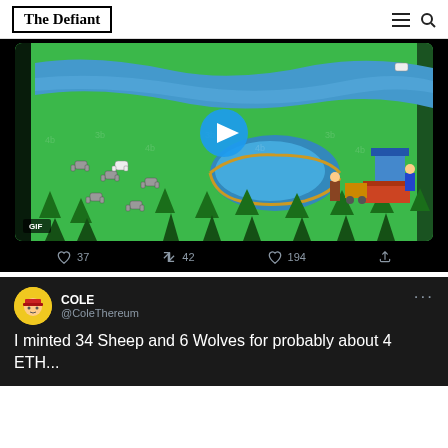The Defiant
[Figure (screenshot): Pixel art game scene showing a green field with sheep, wolves, trees, a blue river, a pond with gold border, and a market stall on the right. A blue play button circle is centered. GIF label in bottom left. Below: tweet interaction counts — 37 likes, 42 retweets, 194 hearts, share button.]
COLE @ColeThereum
I minted 34 Sheep and 6 Wolves for probably about 4 ETH...